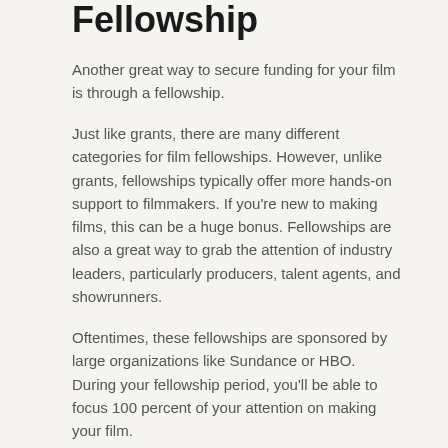Fellowship
Another great way to secure funding for your film is through a fellowship.
Just like grants, there are many different categories for film fellowships. However, unlike grants, fellowships typically offer more hands-on support to filmmakers. If you're new to making films, this can be a huge bonus. Fellowships are also a great way to grab the attention of industry leaders, particularly producers, talent agents, and showrunners.
Oftentimes, these fellowships are sponsored by large organizations like Sundance or HBO. During your fellowship period, you'll be able to focus 100 percent of your attention on making your film.